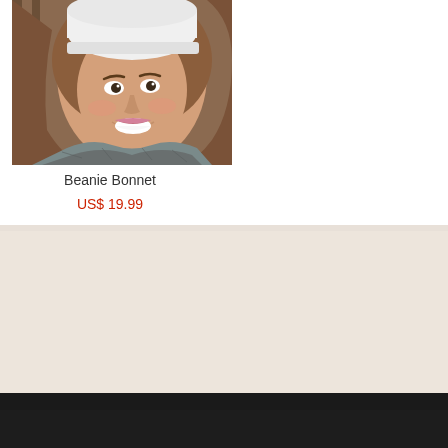[Figure (photo): Photo of a young woman smiling, wearing a white beanie bonnet and grey knit scarf, photographed outdoors]
Beanie Bonnet
US$ 19.99
Newsletter Subscription
Your Email Address
Subscribe
Company Info
About Us
Add to Cart